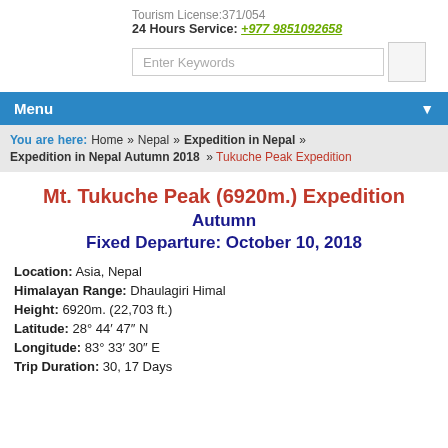Tourism License:371/054
24 Hours Service: +977 9851092658
Enter Keywords
Menu
You are here: Home » Nepal » Expedition in Nepal » Expedition in Nepal Autumn 2018 » Tukuche Peak Expedition
Mt. Tukuche Peak (6920m.) Expedition Autumn Fixed Departure: October 10, 2018
Location: Asia, Nepal
Himalayan Range: Dhaulagiri Himal
Height: 6920m. (22,703 ft.)
Latitude: 28° 44′ 47″ N
Longitude: 83° 33′ 30″ E
Trip Duration: 30, 17 Days